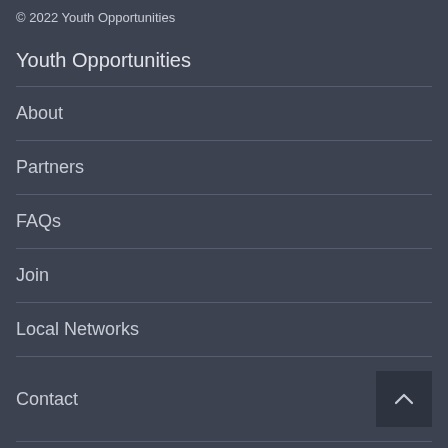© 2022 Youth Opportunities
Youth Opportunities
About
Partners
FAQs
Join
Local Networks
Contact
Press